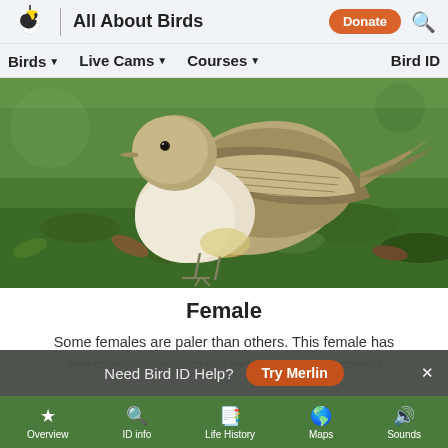All About Birds
[Figure (screenshot): Navigation bar with Birds, Live Cams, Courses, Bird ID menu items]
[Figure (photo): Close-up photograph of a female bird with pale grayish underparts standing on green mossy ground]
Female
Some females are paler than others. This female has pale grayish underparts and yellowish undertail coverts
Need Bird ID Help? Try Merlin
Overview | ID info | Life History | Maps | Sounds